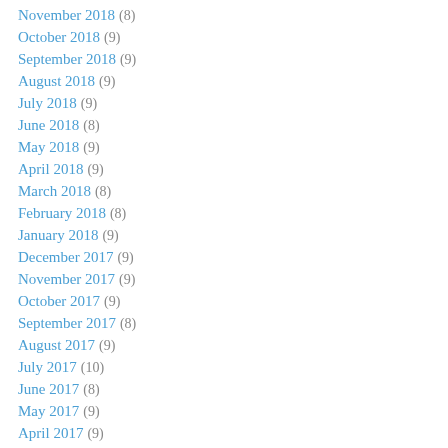November 2018 (8)
October 2018 (9)
September 2018 (9)
August 2018 (9)
July 2018 (9)
June 2018 (8)
May 2018 (9)
April 2018 (9)
March 2018 (8)
February 2018 (8)
January 2018 (9)
December 2017 (9)
November 2017 (9)
October 2017 (9)
September 2017 (8)
August 2017 (9)
July 2017 (10)
June 2017 (8)
May 2017 (9)
April 2017 (9)